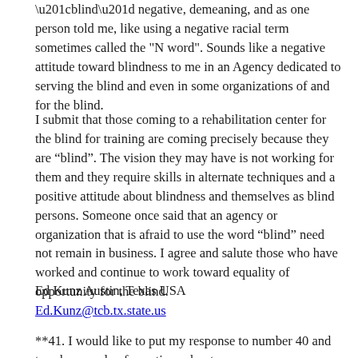“blind” negative, demeaning, and as one person told me, like using a negative racial term sometimes called the "N word". Sounds like a negative attitude toward blindness to me in an Agency dedicated to serving the blind and even in some organizations of and for the blind.
I submit that those coming to a rehabilitation center for the blind for training are coming precisely because they are “blind”. The vision they may have is not working for them and they require skills in alternate techniques and a positive attitude about blindness and themselves as blind persons. Someone once said that an agency or organization that is afraid to use the word “blind” need not remain in business. I agree and salute those who have worked and continue to work toward equality of opportunity for the blind.
Ed Kunz Austin, Texas USA
Ed.Kunz@tcb.tx.state.us
**41. I would like to put my response to number 40 and to ask a couple of questions about your